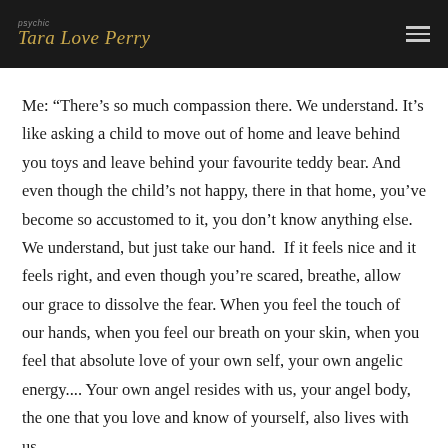Tara Love Perry
Me: “There’s so much compassion there. We understand. It’s like asking a child to move out of home and leave behind you toys and leave behind your favourite teddy bear. And even though the child’s not happy, there in that home, you’ve become so accustomed to it, you don’t know anything else. We understand, but just take our hand.  If it feels nice and it feels right, and even though you’re scared, breathe, allow our grace to dissolve the fear. When you feel the touch of our hands, when you feel our breath on your skin, when you feel that absolute love of your own self, your own angelic energy.... Your own angel resides with us, your angel body, the one that you love and know of yourself, also lives with us